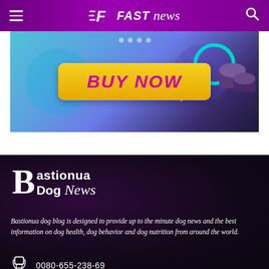FAST news — navigation header with hamburger menu, logo, and search icon
[Figure (photo): Advertisement banner with colorful abstract background and a yellow BUY NOW button with purple/pink text]
Bastionua Dog News
Bastionua dog blog is designed to provide up to the minute dog news and the best information on dog health, dog behavior and dog nutrition from around the world.
0080-655-238-69